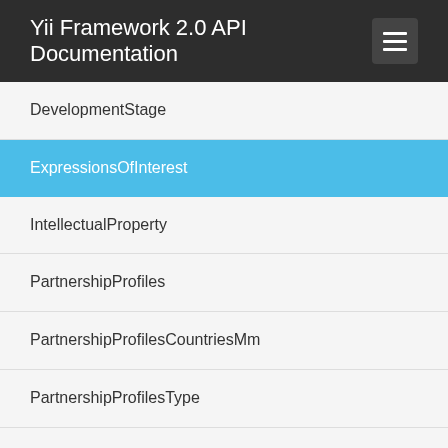Yii Framework 2.0 API Documentation
DevelopmentStage
ExpressionsOfInterest
IntellectualProperty
PartnershipProfiles
PartnershipProfilesCountriesMm
PartnershipProfilesType
PartnershipProfilesTypesMm
WorkLanguage
lispa\amos\partnershipprofiles\models\search ▾
lispa\amos\partnershipprofiles\rules ▾